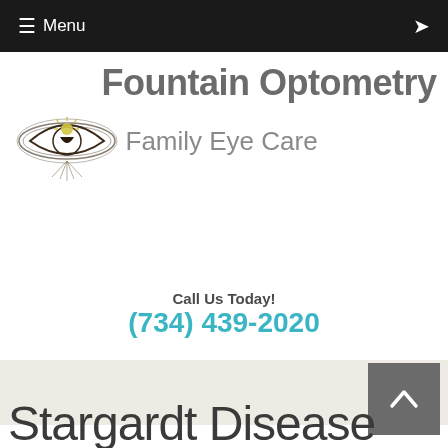≡ Menu
[Figure (logo): Fountain Optometry Family Eye Care logo with eye illustration]
Call Us Today!
(734) 439-2020
Stargardt Disease